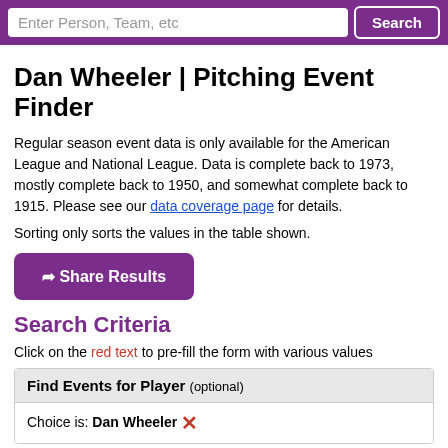Enter Person, Team, etc   Search
Dan Wheeler | Pitching Event Finder
Regular season event data is only available for the American League and National League. Data is complete back to 1973, mostly complete back to 1950, and somewhat complete back to 1915. Please see our data coverage page for details.
Sorting only sorts the values in the table shown.
Share Results
Search Criteria
Click on the red text to pre-fill the form with various values
| Find Events for Player (optional) |
| --- |
| Choice is: Dan Wheeler ✕ |
| Seasons |
| --- |
| 1999 | to | 2012 |